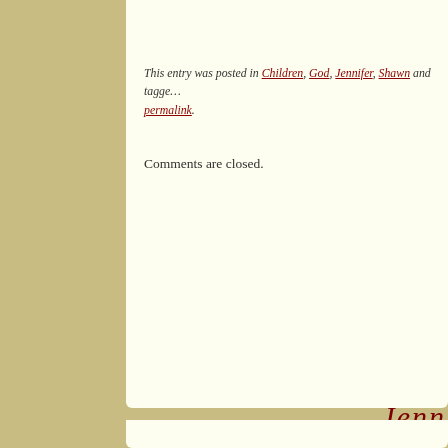[Figure (photo): Partial photo visible at top right corner of page]
This entry was posted in Children, God, Jennifer, Shawn and tagged … permalink.
Comments are closed.
Jenn (partial script/cursive heading)
Home
Jennifers S…
Speaking
Speaking …
Speaking …
Testimonia…
[Figure (logo): SendOutCards logo — red text with envelope icon]
[Figure (logo): Moms On The Run logo — purple text www.MomsOnTheRun.com]
[Figure (logo): Melaleuca logo — green leaf and text]
[Figure (logo): lisa slotsve photography logo]
[Figure (logo): Camp Widow logo — orange bird and script text]
[Figure (logo): the Fresh Air fund logo — green and blue text]